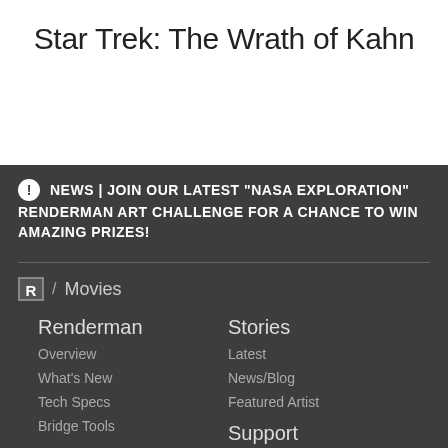Star Trek: The Wrath of Kahn
NEWS | JOIN OUR LATEST "NASA EXPLORATION" RENDERMAN ART CHALLENGE FOR A CHANCE TO WIN AMAZING PRIZES!
R / Movies
Renderman
Overview
What's New
Tech Specs
Bridge Tools
Stories
Latest
News/Blog
Featured Artist
Learn
Support